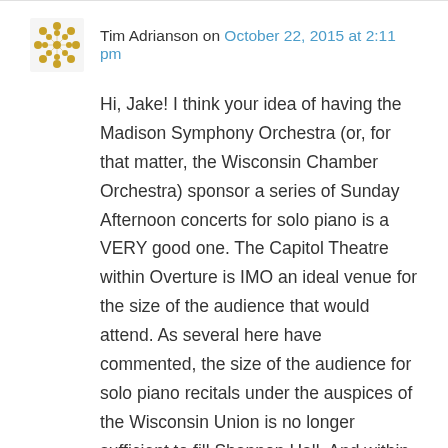Tim Adrianson on October 22, 2015 at 2:11 pm
Hi, Jake! I think your idea of having the Madison Symphony Orchestra (or, for that matter, the Wisconsin Chamber Orchestra) sponsor a series of Sunday Afternoon concerts for solo piano is a VERY good one. The Capitol Theatre within Overture is IMO an ideal venue for the size of the audience that would attend. As several here have commented, the size of the audience for solo piano recitals under the auspices of the Wisconsin Union is no longer sufficient to fill Shannon Hall. And within the piano world, we're talking significant “names” with the likes of Jeremy Denk, Peter Serkin, Joyce Yang, and